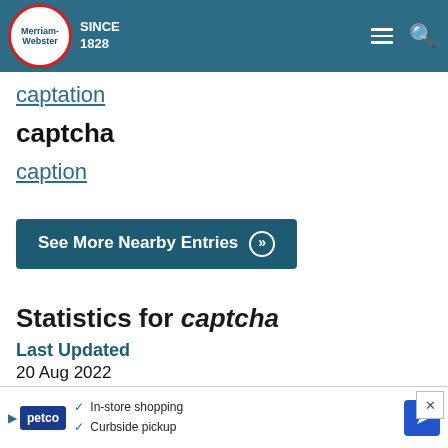[Figure (logo): Merriam-Webster logo with red circle border, SINCE 1828 text, hamburger menu and search icon on teal header]
captation
captcha
caption
See More Nearby Entries »
Statistics for captcha
Last Updated
20 Aug 2022
Look-up Popularity
Top 14% of words
[Figure (screenshot): Petco advertisement banner: In-store shopping, Curbside pickup]